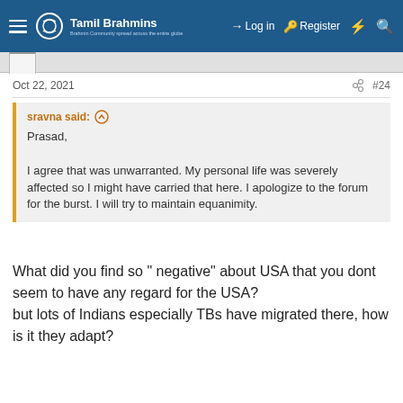Tamil Brahmins — Log in | Register
Oct 22, 2021  #24
sravna said: ↑

Prasad,

I agree that was unwarranted. My personal life was severely affected so I might have carried that here. I apologize to the forum for the burst. I will try to maintain equanimity.
What did you find so " negative" about USA that you dont seem to have any regard for the USA?
but lots of Indians especially TBs have migrated there, how is it they adapt?